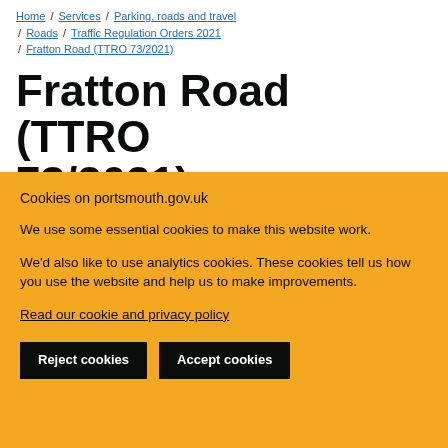Home / Services / Parking, roads and travel / Roads / Traffic Regulation Orders 2021 / Fratton Road (TTRO 73/2021)
Fratton Road (TTRO 73/2021)
Cookies on portsmouth.gov.uk
We use some essential cookies to make this website work.
We'd also like to use analytics cookies. These cookies tell us how you use the website and help us to make improvements.
Read our cookie and privacy policy
Reject cookies   Accept cookies